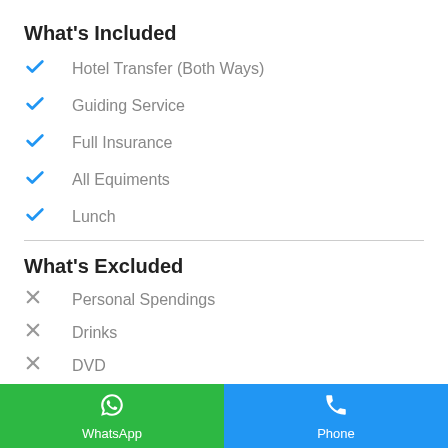What's Included
Hotel Transfer (Both Ways)
Guiding Service
Full Insurance
All Equiments
Lunch
What's Excluded
Personal Spendings
Drinks
DVD
WhatsApp  Phone